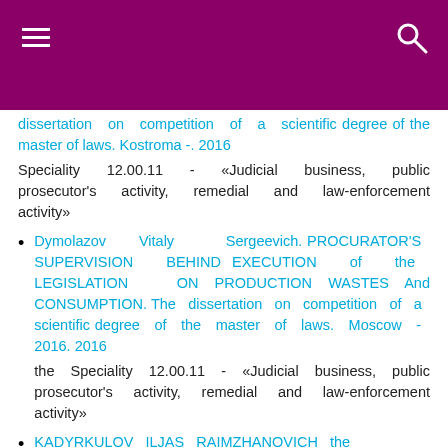Navigation header with hamburger menu and search icon
dissertation on competition of a scientific degree of the master of laws. Kostroma -. 2016
Speciality 12.00.11 - «Judicial business, public prosecutor's activity, remedial and law-enforcement activity»
Dymolazov Vitaly Sergeevich. PROCURATOR'S SUPERVISION BEHIND EXECUTION of the LEGISLATION ON PRODUCTION WASTES And CONSUMPTION. The dissertation on competition of a scientific degree of the master of laws. Moscow - 2016. 2016
the Speciality 12.00.11 - «Judicial business, public prosecutor's activity, remedial and law-enforcement activity»
KADYRKULOV ILJAS RAIMZHANOVICH the